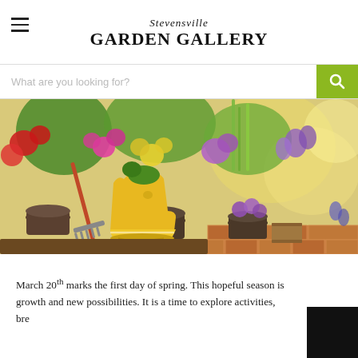Stevensville GARDEN GALLERY
What are you looking for?
[Figure (photo): Colorful garden scene with yellow rubber boots, assorted flowering plants in pots, a garden rake, and brick patio surface]
March 20th marks the first day of spring. This hopeful season is growth and new possibilities. It is a time to explore activities, bre